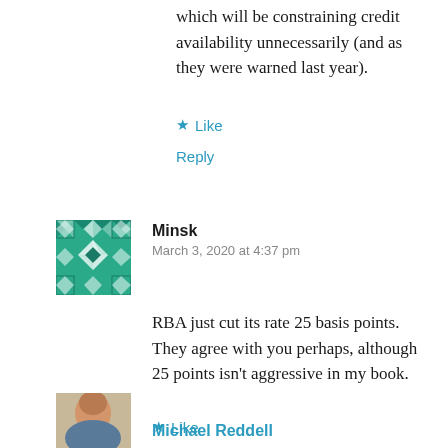which will be constraining credit availability unnecessarily (and as they were warned last year).
★ Like
Reply
[Figure (illustration): Teal/green quilt-pattern avatar for user Minsk]
Minsk
March 3, 2020 at 4:37 pm
RBA just cut its rate 25 basis points. They agree with you perhaps, although 25 points isn't aggressive in my book.
★ Like
Reply
[Figure (photo): Partial circular avatar photo of Michael Reddell at bottom of page]
Michael Reddell